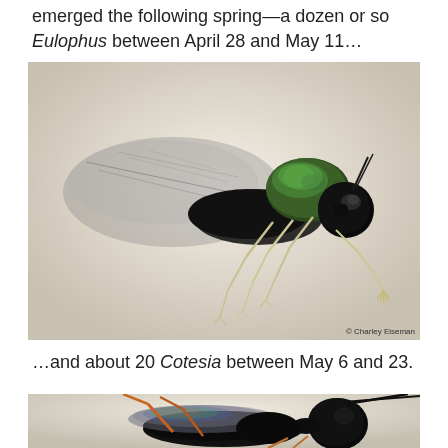emerged the following spring—a dozen or so Eulophus between April 28 and May 11…
[Figure (photo): Close-up macro photograph of an Eulophus parasitoid wasp, showing iridescent dark green/black thorax, wings, and pale yellowish legs, photographed against a light background. Credit: © Charley Eiseman]
…and about 20 Cotesia between May 6 and 23.
[Figure (photo): Close-up macro photograph of a Cotesia parasitoid wasp, showing dark body with orange-brown legs, iridescent wings, and long antennae, photographed against a light background.]